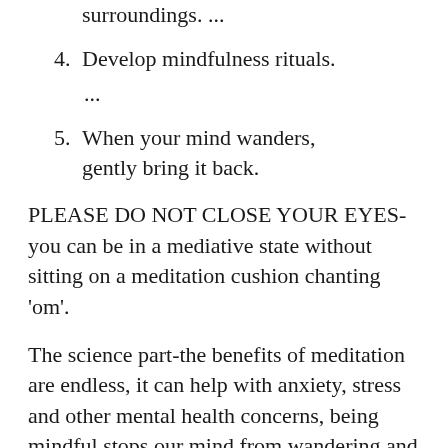surroundings. ...
4.  Develop mindfulness rituals.
    ...
5.  When your mind wanders, gently bring it back.
PLEASE DO NOT CLOSE YOUR EYES- you can be in a mediative state without sitting on a meditation cushion chanting 'om'.
The science part-the benefits of meditation are endless, it can help with anxiety, stress and other mental health concerns, being mindful stops our mind from wandering and over thinking, so for us who are on a tight schedule in the morning, doing our mindfulness practice while in the